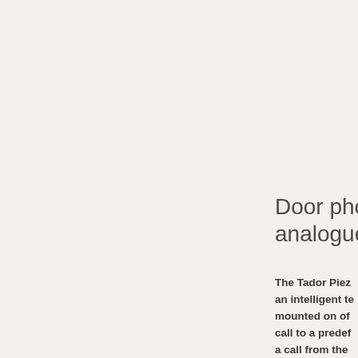Door phone analogue
The Tador Piez an intelligent te mounted on of call to a predef a call from the and open the d